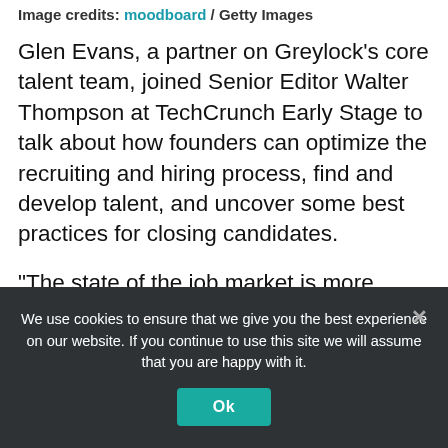Image credits: moodboard / Getty Images
Glen Evans, a partner on Greylock’s core talent team, joined Senior Editor Walter Thompson at TechCrunch Early Stage to talk about how founders can optimize the recruiting and hiring process, find and develop talent, and uncover some best practices for closing candidates.
“The state of the job market is more competitive than I’ve ever seen it,” said Evans, who has two decades of experience
We use cookies to ensure that we give you the best experience on our website. If you continue to use this site we will assume that you are happy with it.